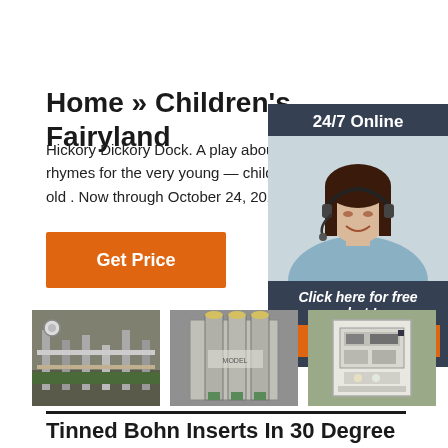Home » Children's Fairyland
Hickory Dickory Dock. A play about time, chim rhymes for the very young — children two to fi old . Now through October 24, 2021 Weekend
Get Price
[Figure (photo): Chat widget with 24/7 Online label, female agent with headset, 'Click here for free chat!' text, and QUOTATION button]
[Figure (photo): Industrial equipment room with pipes and gauges]
[Figure (photo): Industrial gas purification or filtration unit with vertical cylinders]
[Figure (photo): Industrial control panel or equipment box]
Tinned Bohn Inserts In 30 Degree